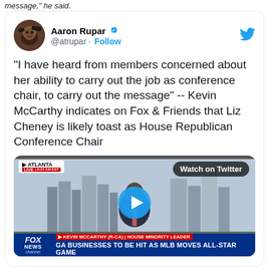message," he said.
[Figure (screenshot): Embedded tweet from Aaron Rupar (@atrupar) with verified badge and Follow button. Tweet text: "I have heard from members concerned about her ability to carry out the job as conference chair, to carry out the message" -- Kevin McCarthy indicates on Fox & Friends that Liz Cheney is likely toast as House Republican Conference Chair. Includes embedded Fox News video thumbnail showing Kevin McCarthy with Atlanta skyline, with Watch on Twitter button and play button overlay. Fox News lower-third shows: KEVIN MCCARTHY (R-CA) HOUSE MINORITY LEADER / GA BUSINESSES TO BE HIT AS MLB MOVES ALL-STAR GAME.]